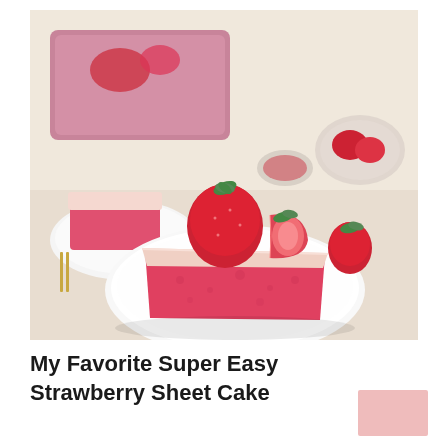[Figure (photo): A slice of pink strawberry sheet cake topped with cream frosting and fresh strawberries (one whole, one halved) on a white plate. In the background is a pink baking dish, another slice of cake on a white plate, small glass bowls with strawberry sauce and strawberries, and more fresh strawberries on a light wooden surface.]
My Favorite Super Easy Strawberry Sheet Cake